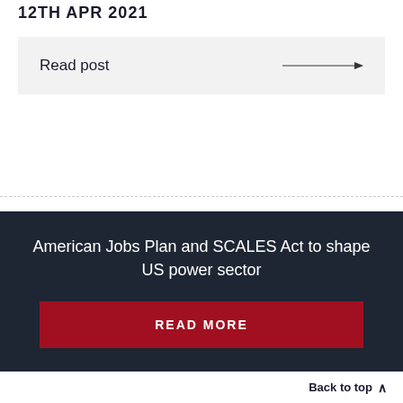12TH APR 2021
Read post →
American Jobs Plan and SCALES Act to shape US power sector
READ MORE
Back to top ∧